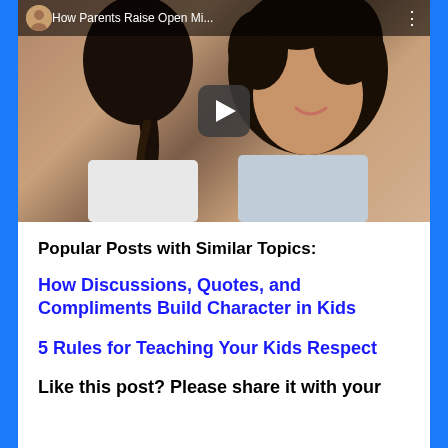[Figure (screenshot): Video thumbnail showing a woman and child facing each other, with a play button overlay. Video title bar reads 'How Parents Raise Open Mi...' with a circular avatar and three-dot menu.]
Popular Posts with Similar Topics:
How Discussions, Quotes, and Compliments Build Character in Kids
5 Rules for Teaching Your Kids Respect
Like this post? Please share it with your